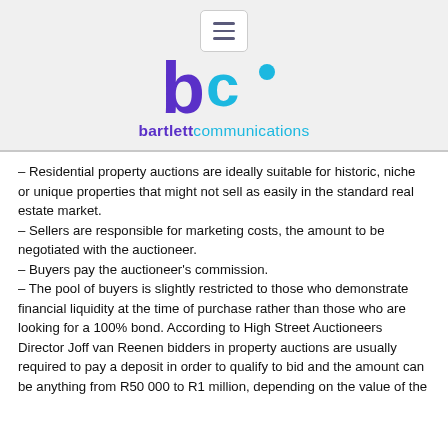[Figure (logo): Bartlett Communications logo with stylized 'bc' icon in purple and blue, and the text 'bartlett' in purple bold and 'communications' in blue]
– Residential property auctions are ideally suitable for historic, niche or unique properties that might not sell as easily in the standard real estate market.
– Sellers are responsible for marketing costs, the amount to be negotiated with the auctioneer.
– Buyers pay the auctioneer's commission.
– The pool of buyers is slightly restricted to those who demonstrate financial liquidity at the time of purchase rather than those who are looking for a 100% bond. According to High Street Auctioneers Director Joff van Reenen bidders in property auctions are usually required to pay a deposit in order to qualify to bid and the amount can be anything from R50 000 to R1 million, depending on the value of the